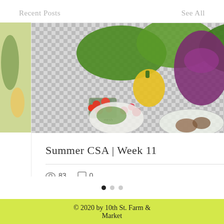Recent Posts   See All
[Figure (photo): Photo of a CSA vegetable box spread with various vegetables including lettuce, peppers, eggplant, tomatoes, cucumbers, potatoes, and greens in mesh bags on a checkered background]
Summer CSA | Week 11
83 views  0 comments
© 2020 by 10th St. Farm & Market